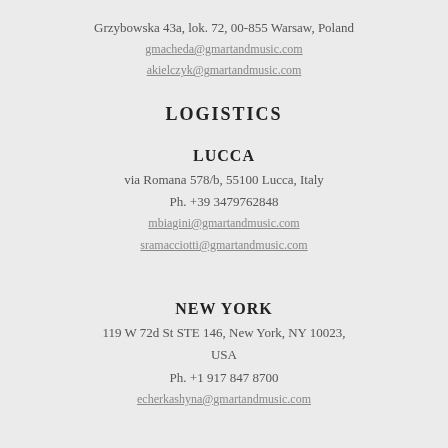Grzybowska 43a, lok. 72, 00-855 Warsaw, Poland
gmacheda@gmartandmusic.com
akielczyk@gmartandmusic.com
LOGISTICS
LUCCA
via Romana 578/b, 55100 Lucca, Italy
Ph. +39 3479762848
mbiagini@gmartandmusic.com
sramacciotti@gmartandmusic.com
NEW YORK
119 W 72d St STE 146, New York, NY 10023, USA
Ph. +1 917 847 8700
echerkashyna@gmartandmusic.com